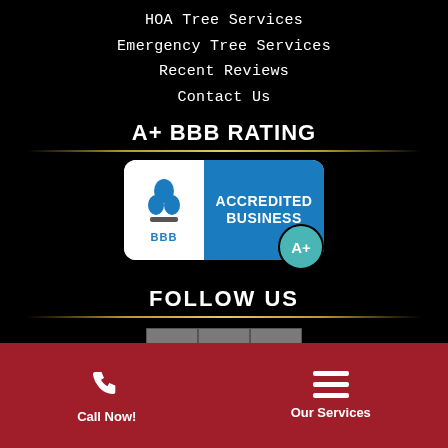HOA Tree Services
Emergency Tree Services
Recent Reviews
Contact Us
A+ BBB RATING
[Figure (logo): BBB Accredited Business badge with A+ rating]
FOLLOW US
[Figure (infographic): Social media icons: Facebook, Instagram, Yelp]
Call Now!
Our Services